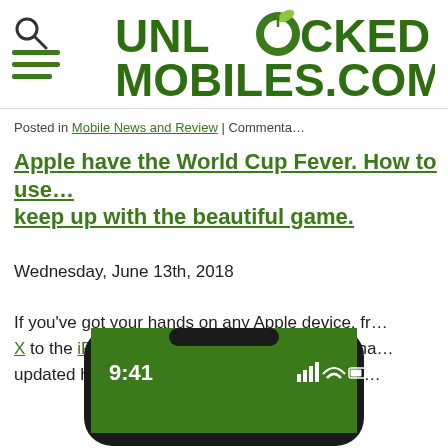UNLOCKED MOBILES.COM
Posted in Mobile News and Review | Comments...
Apple have the World Cup Fever. How to use … keep up with the beautiful game.
Wednesday, June 13th, 2018
If you've got your hands on any Apple device, from the iPhone X to the iPhone 7 Plus, you'll be glad to hear that… updated her Football knowledge in time for the…
[Figure (photo): Bottom portion of a black iPhone X showing a green screen with time 9:41]